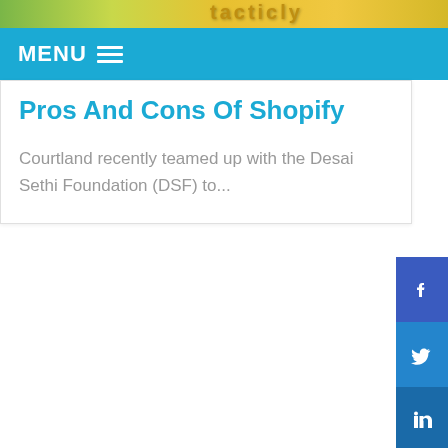[Figure (screenshot): Top image strip with colorful background and stylized text overlay]
MENU ☰
Pros And Cons Of Shopify
Courtland recently teamed up with the Desai Sethi Foundation (DSF) to...
[Figure (infographic): Social media share buttons: Facebook, Twitter, LinkedIn on right sidebar, plus a '+' button below]
Our Clients
[Figure (logo): Row of client logos: accessibility icon, Looking Glass Child Development Center, Little Dixie Community Action Agency]